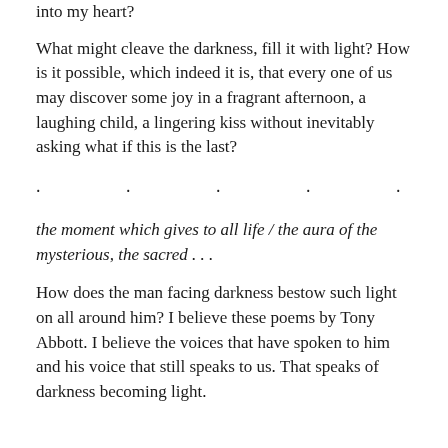into my heart?
What might cleave the darkness, fill it with light? How is it possible, which indeed it is, that every one of us may discover some joy in a fragrant afternoon, a laughing child, a lingering kiss without inevitably asking what if this is the last?
. . . . . . .
the moment which gives to all life / the aura of the mysterious, the sacred . . .
How does the man facing darkness bestow such light on all around him? I believe these poems by Tony Abbott. I believe the voices that have spoken to him and his voice that still speaks to us. That speaks of darkness becoming light.